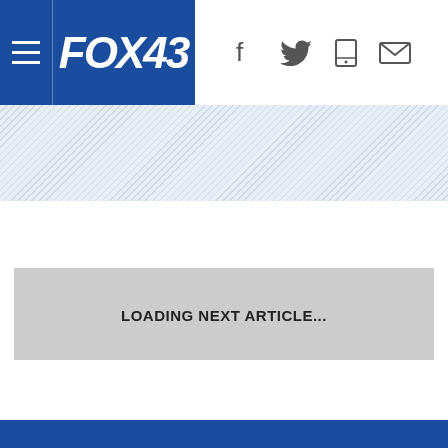FOX43 navigation bar with logo and social icons
[Figure (screenshot): FOX43 website navigation bar with blue background logo section showing FOX43 in white italic bold text, hamburger menu icon on the left, and social media icons (Facebook, Twitter, mobile, email) on the right]
LOADING NEXT ARTICLE...